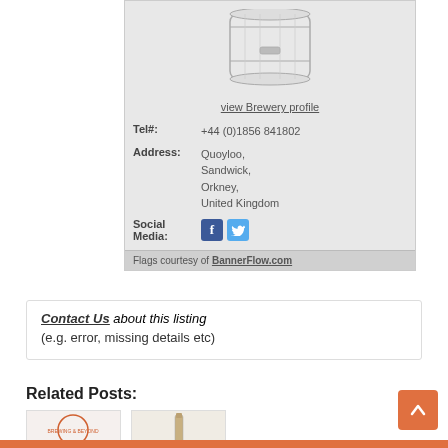[Figure (illustration): Sketch/illustration of a brewery barrel/keg container inside a gray card panel]
view Brewery profile
Tel#: +44 (0)1856 841802
Address: Quoyloo, Sandwick, Orkney, United Kingdom
Social Media: [Facebook icon] [Twitter icon]
Flags courtesy of BannerFlow.com
Contact Us about this listing
(e.g. error, missing details etc)
Related Posts:
[Figure (photo): Related post thumbnail 1 - circular brewing logo]
[Figure (photo): Related post thumbnail 2 - bottle image]